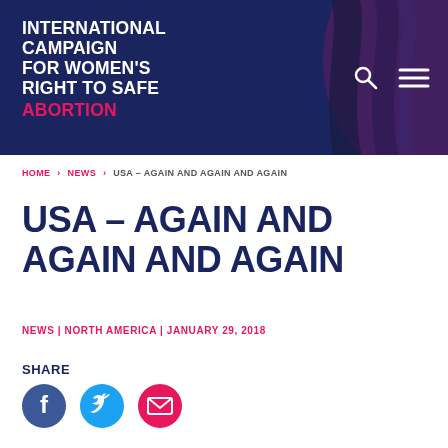INTERNATIONAL CAMPAIGN FOR WOMEN'S RIGHT TO SAFE ABORTION
HOME > NEWS > USA – AGAIN AND AGAIN AND AGAIN
USA – AGAIN AND AGAIN AND AGAIN
NEWS | NORTH AMERICA | JANUARY 29, 2018
SHARE
[Figure (illustration): Three circular social share icons: Facebook (blue), Twitter (cyan), and Email (pink/magenta)]